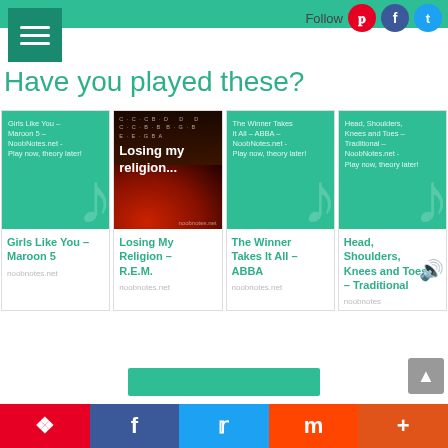Have you played these?
[Figure (screenshot): Card: Girls Like You - Maroon 5, noobnotes.net]
[Figure (photo): Card with candle photo: Losing My Religion - R.E.M., noobnotes.net]
[Figure (screenshot): Card: The Winner Takes It All - ABBA, noobnotes.net]
[Figure (screenshot): Card: Head, Shoulders, Knees and Toes - Traditional, noobnotes.net]
Pinterest Facebook Twitter Mix +